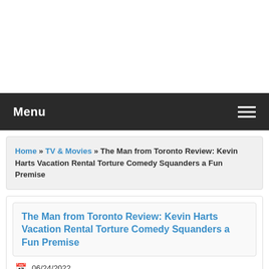Menu
Home » TV & Movies » The Man from Toronto Review: Kevin Harts Vacation Rental Torture Comedy Squanders a Fun Premise
The Man from Toronto Review: Kevin Harts Vacation Rental Torture Comedy Squanders a Fun Premise
06/24/2022
“The Man from Toronto,” Patrick Hughes’ new buddy comedy starring Kevin Hart and Woody Harrelson, is